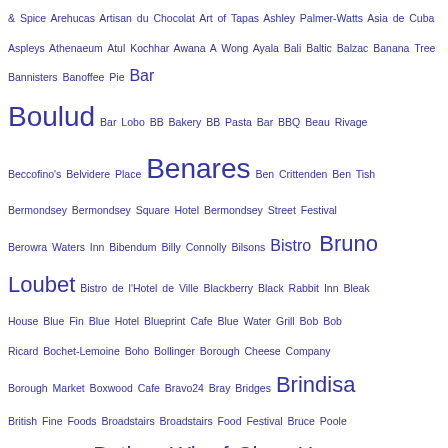& Spice Arehucas Artisan du Chocolat Art of Tapas Ashley Palmer-Watts Asia de Cuba Aspleys Athenaeum Atul Kochhar Awana A Wong Ayala Bali Baltic Balzac Banana Tree Bannisters Banoffee Pie Bar Boulud Bar Lobo BB Bakery BB Pasta Bar BBQ Beau Rivage Beccofino's Belvidere Place Benares Ben Crittenden Ben Tish Bermondsey Bermondsey Square Hotel Bermondsey Street Festival Berowra Waters Inn Bibendum Billy Connolly Bilsons Bistro Bruno Loubet Bistro de l'Hotel de Ville Blackberry Black Rabbit Inn Bleak House Blue Fin Blue Hotel Blueprint Cafe Blue Water Grill Bob Bob Ricard Bochet-Lemoine Boho Bollinger Borough Cheese Company Borough Market Boxwood Cafe Bravo24 Bray Bridges Brindisa British Fine Foods Broadstairs Broadstairs Food Festival Bruce Poole Bryant Park Grill Butlers Wharf Chop House Bécasse c Cable Cafe Caboose Cafe Luc Cafe Nero Cafe On Cafe Sabarsky Cafe Spice Namaste Caffe Caldesi Cagliostro Cameron Emirali Canterbury Cantina Cirotto Canton Tea Company Catalina Celebrity Master Chef